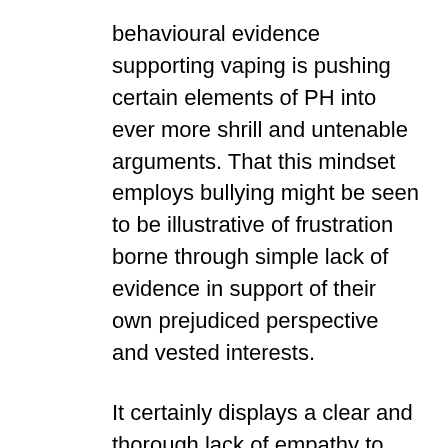behavioural evidence supporting vaping is pushing certain elements of PH into ever more shrill and untenable arguments. That this mindset employs bullying might be seen to be illustrative of frustration borne through simple lack of evidence in support of their own prejudiced perspective and vested interests.
It certainly displays a clear and thorough lack of empathy to those for whom they profess care.
It is shameful and unpleasant… but ultimately ineffective… as it merely acts as a lens through which their own failures and elitist attitudes become ever more focused and obvious not just to any general observer but more importantly, to their own